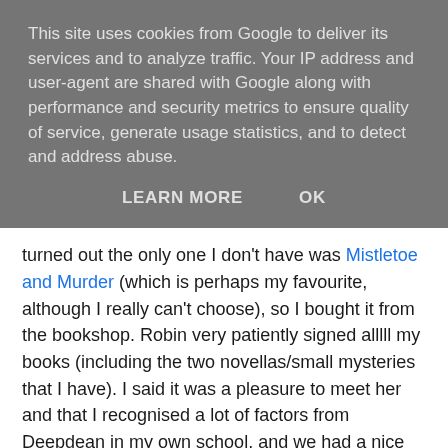This site uses cookies from Google to deliver its services and to analyze traffic. Your IP address and user-agent are shared with Google along with performance and security metrics to ensure quality of service, generate usage statistics, and to detect and address abuse.
LEARN MORE   OK
turned out the only one I don't have was Mistletoe and Murder (which is perhaps my favourite, although I really can't choose), so I bought it from the bookshop. Robin very patiently signed alllll my books (including the two novellas/small mysteries that I have). I said it was a pleasure to meet her and that I recognised a lot of factors from Deepdean in my own school, and we had a nice chat about the series in general, about the fact that the next full length novel is going to be the last in this series, and about what she might write next. She's definitely working on something! I heard her give a hint to when exactly her next work might be set, and I'm definitely intrigued!
I said that I really like the political atmosphere of the books,